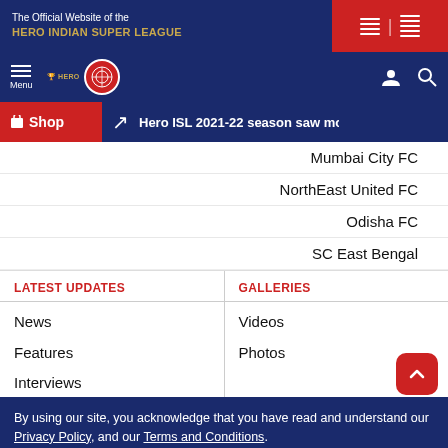The Official Website of the HERO INDIAN SUPER LEAGUE
[Figure (screenshot): Navigation bar with Menu button, ISL logo, user icon and search icon]
Shop | Hero ISL 2021-22 season saw more
Mumbai City FC
NorthEast United FC
Odisha FC
SC East Bengal
LATEST UPDATES
GALLERIES
News
Videos
Features
Photos
Interviews
By using our site, you acknowledge that you have read and understand our Privacy Policy, and our Terms and Conditions.
GOT IT